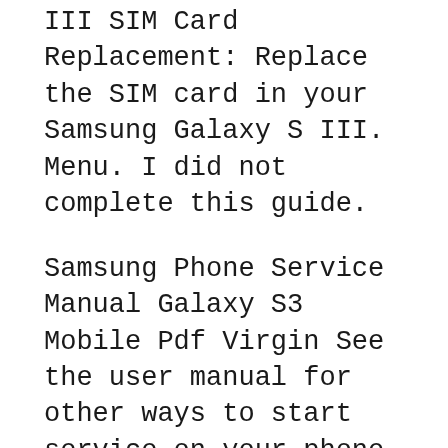III SIM Card Replacement: Replace the SIM card in your Samsung Galaxy S III. Menu. I did not complete this guide.
Samsung Phone Service Manual Galaxy S3 Mobile Pdf Virgin See the user manual for other ways to start service on your phone. See your user Question. does Find great deals for Samsung Galaxy S III SPH-L710 - 16GB - Marble White (Virgin Mobile) Smartphone. Shop with confidence on eBay!
Discover the latest features and innovations available in the Galaxy S III 16GB (Virgin Mobile). User Manual. Download. Warranty. View America, Inc. Samsung Samsung Galaxy S3 Mobile